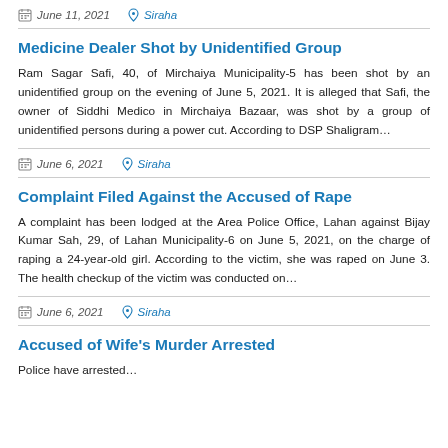June 11, 2021  Siraha
Medicine Dealer Shot by Unidentified Group
Ram Sagar Safi, 40, of Mirchaiya Municipality-5 has been shot by an unidentified group on the evening of June 5, 2021. It is alleged that Safi, the owner of Siddhi Medico in Mirchaiya Bazaar, was shot by a group of unidentified persons during a power cut. According to DSP Shaligram…
June 6, 2021  Siraha
Complaint Filed Against the Accused of Rape
A complaint has been lodged at the Area Police Office, Lahan against Bijay Kumar Sah, 29, of Lahan Municipality-6 on June 5, 2021, on the charge of raping a 24-year-old girl. According to the victim, she was raped on June 3. The health checkup of the victim was conducted on…
June 6, 2021  Siraha
Accused of Wife's Murder Arrested
Police have arrested…